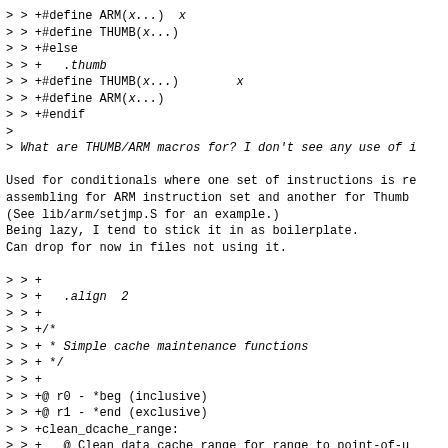> > +#define ARM(x...)  x
> > +#define THUMB(x...)
> > +#else
> > +   .thumb
> > +#define THUMB(x...)        x
> > +#define ARM(x...)
> > +#endif
>
> What are THUMB/ARM macros for? I don't see any use of i
Used for conditionals where one set of instructions is re
assembling for ARM instruction set and another for Thumb
(See lib/arm/setjmp.S for an example.)
Being lazy, I tend to stick it in as boilerplate.
Can drop for now in files not using it.
> > +
> > +   .align  2
> > +
> > +/*
> > + * Simple cache maintenance functions
> > + */
> > +
> > +@ r0 - *beg (inclusive)
> > +@ r1 - *end (exclusive)
> > +clean_dcache_range:
> > +   @ Clean data cache range for range to point-of-u
> > +   ldr     r2, dlinesz
> > +1: cmp     r0, r1
> > +   bge     2f